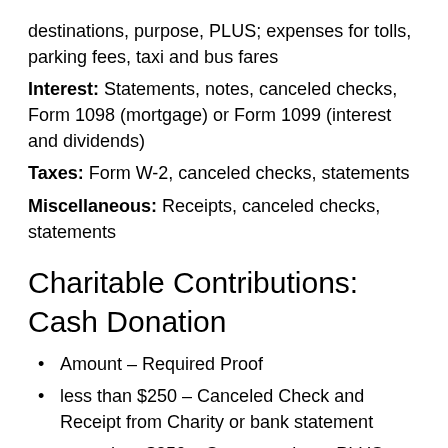destinations, purpose, PLUS; expenses for tolls, parking fees, taxi and bus fares
Interest: Statements, notes, canceled checks, Form 1098 (mortgage) or Form 1099 (interest and dividends)
Taxes: Form W-2, canceled checks, statements
Miscellaneous: Receipts, canceled checks, statements
Charitable Contributions: Cash Donation
Amount – Required Proof
less than $250 – Canceled Check and Receipt from Charity or bank statement
more than $250 – Same as above PLUS